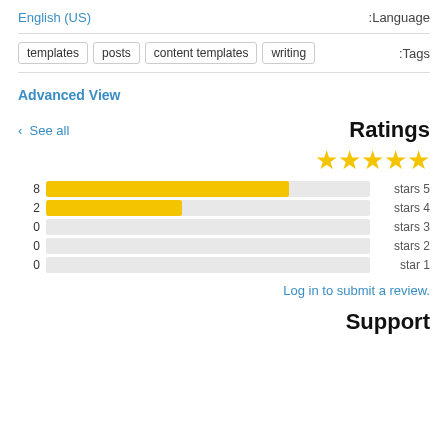Language: English (US)
Tags: templates  posts  content templates  writing
Advanced View
Ratings
[Figure (bar-chart): Ratings distribution]
Log in to submit a review.
Support